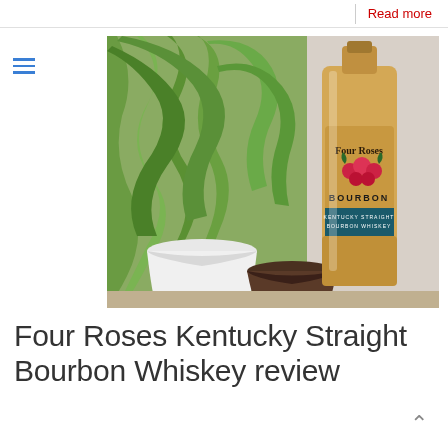0  Read more
[Figure (photo): A bottle of Four Roses Bourbon Kentucky Straight Bourbon Whiskey placed next to a green plant in a white pot and a dark brown pot on a shelf.]
Four Roses Kentucky Straight Bourbon Whiskey review
WhiskyRant's conclusions Tasting notes Four Roses Kentucky Straight Bourbon Whiskey, a.k.a the Yellow Label regular bourbon by Four Roses distillery. This is a legendary American whiskey, not by taste but by conspicuousness.